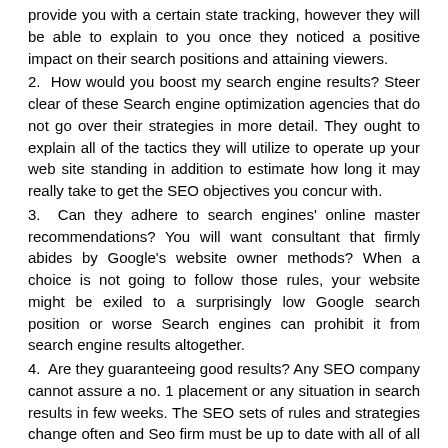provide you with a certain state tracking, however they will be able to explain to you once they noticed a positive impact on their search positions and attaining viewers.
2. How would you boost my search engine results? Steer clear of these Search engine optimization agencies that do not go over their strategies in more detail. They ought to explain all of the tactics they will utilize to operate up your web site standing in addition to estimate how long it may really take to get the SEO objectives you concur with.
3. Can they adhere to search engines' online master recommendations? You will want consultant that firmly abides by Google's website owner methods? When a choice is not going to follow those rules, your website might be exiled to a surprisingly low Google search position or worse Search engines can prohibit it from search engine results altogether.
4. Are they guaranteeing good results? Any SEO company cannot assure a no. 1 placement or any situation in search results in few weeks. The SEO sets of rules and strategies change often and Seo firm must be up to date with all of all those changes. When they offer you a good example of what they have achieved with regard to their customer, it is far from assured that you will get the same place. If any company is guaranteeing results, try to find an additional